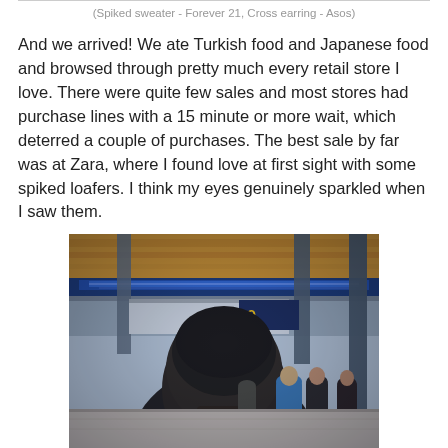(Spiked sweater - Forever 21, Cross earring - Asos)
And we arrived! We ate Turkish food and Japanese food and browsed through pretty much every retail store I love. There were quite few sales and most stores had purchase lines with a 15 minute or more wait, which deterred a couple of purchases. The best sale by far was at Zara, where I found love at first sight with some spiked loafers. I think my eyes genuinely sparkled when I saw them.
[Figure (photo): Photo taken from behind a person with short dark hair inside a shopping mall. The mall has a warm wooden ceiling with blue accent lighting, multiple levels visible, a Guess store sign, and various shoppers in the background.]